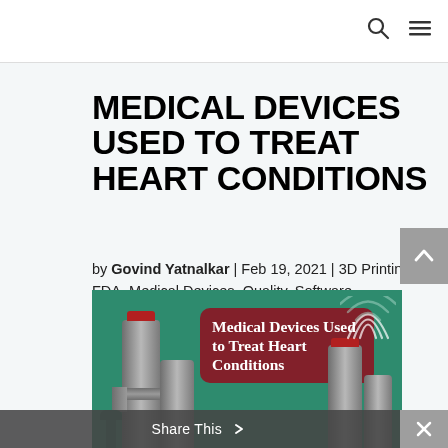MEDICAL DEVICES USED TO TREAT HEART CONDITIONS
by Govind Yatnalkar | Feb 19, 2021 | 3D Printing, FDA, Medical Devices, Quality, Software
[Figure (infographic): Infographic with green background showing medical device cylinders/towers with red tops and signal arcs. Contains text overlay: 'Medical Devices Used to Treat Heart Conditions' on a dark red rounded rectangle.]
Share This